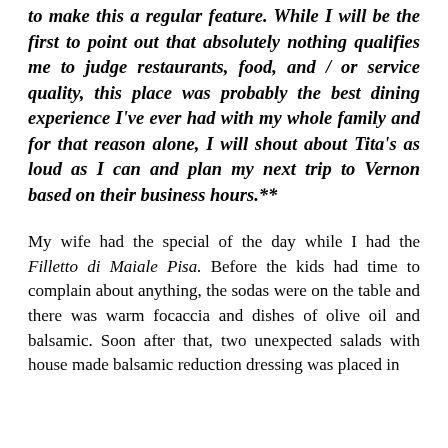to make this a regular feature. While I will be the first to point out that absolutely nothing qualifies me to judge restaurants, food, and / or service quality, this place was probably the best dining experience I've ever had with my whole family and for that reason alone, I will shout about Tita's as loud as I can and plan my next trip to Vernon based on their business hours.**
My wife had the special of the day while I had the Filletto di Maiale Pisa. Before the kids had time to complain about anything, the sodas were on the table and there was warm focaccia and dishes of olive oil and balsamic. Soon after that, two unexpected salads with house made balsamic reduction dressing was placed in